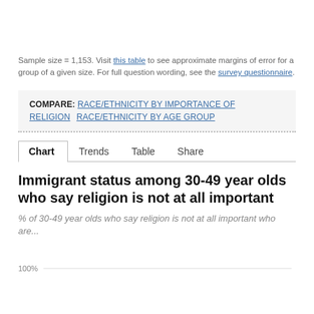Sample size = 1,153. Visit this table to see approximate margins of error for a group of a given size. For full question wording, see the survey questionnaire.
COMPARE: RACE/ETHNICITY BY IMPORTANCE OF RELIGION  RACE/ETHNICITY BY AGE GROUP
Chart  Trends  Table  Share
Immigrant status among 30-49 year olds who say religion is not at all important
% of 30-49 year olds who say religion is not at all important who are...
[Figure (bar-chart): Partial bar chart visible at bottom of page, y-axis label 100% visible]